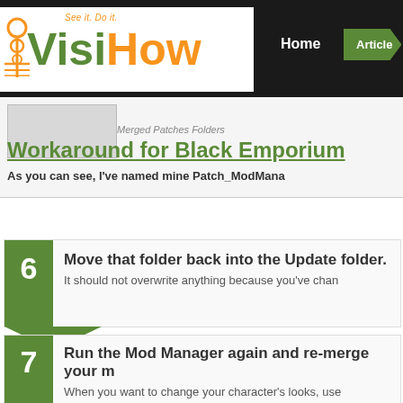VisiHow — See it. Do it. | Home | Articles
Workaround for Black Emporium
Merged Patches Folders
As you can see, I've named mine Patch_ModMana
6. Move that folder back into the Update folder. It should not overwrite anything because you've chan
7. Run the Mod Manager again and re-merge your m When you want to change your character's looks, use switch it with the one that includes them, renaming